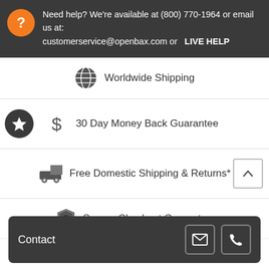Need help? We're available at (800) 770-1964 or email us at: customerservice@openbax.com or LIVE HELP
Worldwide Shipping
30 Day Money Back Guarantee
Free Domestic Shipping & Returns*
Secure Checkout Guarantee
Contact